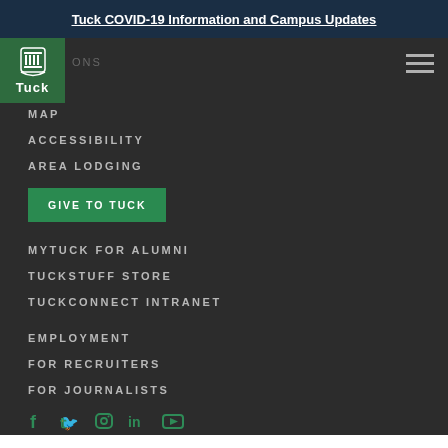Tuck COVID-19 Information and Campus Updates
[Figure (logo): Tuck School of Business logo — green square with shield/crest icon and Tuck wordmark]
MAP
ACCESSIBILITY
AREA LODGING
GIVE TO TUCK
MYTUCK FOR ALUMNI
TUCKSTUFF STORE
TUCKCONNECT INTRANET
EMPLOYMENT
FOR RECRUITERS
FOR JOURNALISTS
[Figure (infographic): Social media icons row: Facebook, Twitter, Instagram, LinkedIn, YouTube — teal/green color]